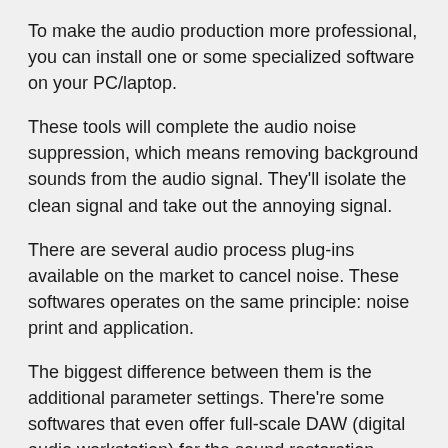To make the audio production more professional, you can install one or some specialized software on your PC/laptop.
These tools will complete the audio noise suppression, which means removing background sounds from the audio signal. They'll isolate the clean signal and take out the annoying signal.
There are several audio process plug-ins available on the market to cancel noise. These softwares operates on the same principle: noise print and application.
The biggest difference between them is the additional parameter settings. There're some softwares that even offer full-scale DAW (digital audio workstation) for the sound restoration.